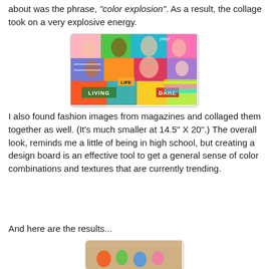about was the phrase, "color explosion".  As a result, the collage took on a very explosive energy.
[Figure (photo): A colorful fashion collage made from magazine clippings featuring various people in bright, colorful outfits. Text overlays say LIVING, LIFE, DARE, and play!]
I also found fashion images from magazines and collaged them together as well.  (It's much smaller at 14.5" X 20".)  The overall look, reminds me a little of being in high school, but creating a design board is an effective tool to get a general sense of color combinations and textures that are currently trending.
And here are the results...
[Figure (photo): Partial view of a second collage/design board showing colorful fashion illustrations on a tan/beige background.]